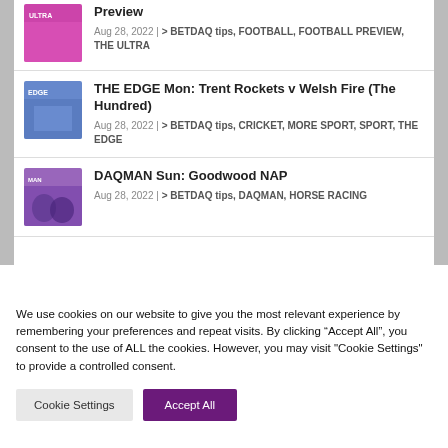Preview
Aug 28, 2022 | > BETDAQ tips, FOOTBALL, FOOTBALL PREVIEW, THE ULTRA
THE EDGE Mon: Trent Rockets v Welsh Fire (The Hundred)
Aug 28, 2022 | > BETDAQ tips, CRICKET, MORE SPORT, SPORT, THE EDGE
DAQMAN Sun: Goodwood NAP
Aug 28, 2022 | > BETDAQ tips, DAQMAN, HORSE RACING
We use cookies on our website to give you the most relevant experience by remembering your preferences and repeat visits. By clicking “Accept All”, you consent to the use of ALL the cookies. However, you may visit "Cookie Settings" to provide a controlled consent.